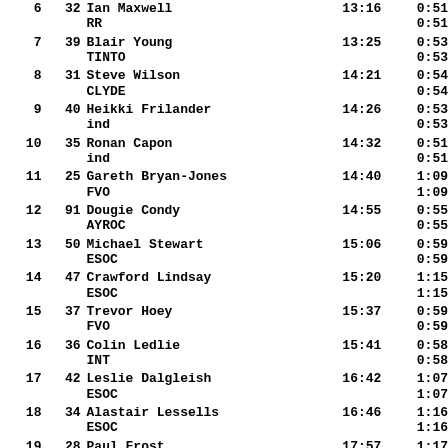| Pos | Bib | Name / Club | Time | Split |
| --- | --- | --- | --- | --- |
| 6 | 32 | Ian Maxwell | 13:16 | 0:51 |
|  |  | RR |  | 0:51 |
| 7 | 39 | Blair Young | 13:25 | 0:53 |
|  |  | TINTO |  | 0:53 |
| 8 | 31 | Steve Wilson | 14:21 | 0:54 |
|  |  | CLYDE |  | 0:54 |
| 9 | 40 | Heikki Frilander | 14:26 | 0:53 |
|  |  | ind |  | 0:53 |
| 10 | 35 | Ronan Capon | 14:32 | 0:51 |
|  |  | ind |  | 0:51 |
| 11 | 25 | Gareth Bryan-Jones | 14:40 | 1:09 |
|  |  | FVO |  | 1:09 |
| 12 | 91 | Dougie Condy | 14:55 | 0:55 |
|  |  | AYROC |  | 0:55 |
| 13 | 50 | Michael Stewart | 15:06 | 0:59 |
|  |  | ESOC |  | 0:59 |
| 14 | 47 | Crawford Lindsay | 15:20 | 1:15 |
|  |  | ESOC |  | 1:15 |
| 15 | 37 | Trevor Hoey | 15:37 | 0:59 |
|  |  | FVO |  | 0:59 |
| 16 | 36 | Colin Ledlie | 15:41 | 0:58 |
|  |  | INT |  | 0:58 |
| 17 | 42 | Leslie Dalgleish | 16:42 | 1:07 |
|  |  | ESOC |  | 1:07 |
| 18 | 34 | Alastair Lessells | 16:46 | 1:16 |
|  |  | ESOC |  | 1:16 |
| 19 | 28 | Paul Frost | 17:57 | 1:17 |
|  |  | ECKO |  | 1:17 |
| 20 | 33 | Andy Paterson | 18:34 | 1:16 |
|  |  | CLYDE |  | 1:16 |